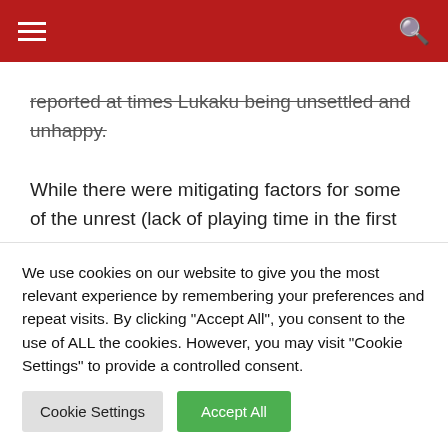Navigation header with hamburger menu and search icon
reported at times Lukaku being unsettled and unhappy. While there were mitigating factors for some of the unrest (lack of playing time in the first team), the sequence of events leading to his Everton departure were less than ideal. He held the football club to ransom by mulling over a contract that the Belgian had no intention of signing. No player is bigger than the football club and Lukaku must knuckle down and train hard to improve his overall game
We use cookies on our website to give you the most relevant experience by remembering your preferences and repeat visits. By clicking "Accept All", you consent to the use of ALL the cookies. However, you may visit "Cookie Settings" to provide a controlled consent.